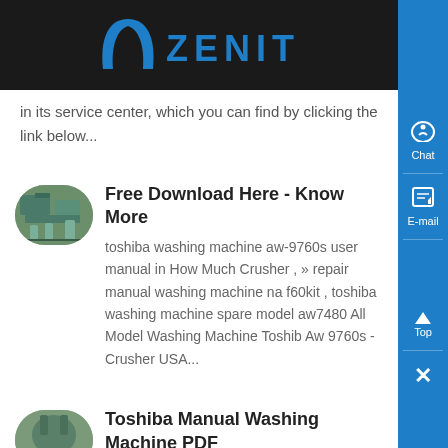ZENIT
in its service center, which you can find by clicking the link below...
Free Download Here - Know More
toshiba washing machine aw-9760s user manual in How Much Crusher , » repair manual washing machine na f60kit , toshiba washing machine spare model aw7480 All Model Washing Machine Toshiba Aw 9760s - Crusher USA...
Toshiba Manual Washing Machine PDF Download - Know More
washing machine service repair manuals online you washing machine is not working properly it does no